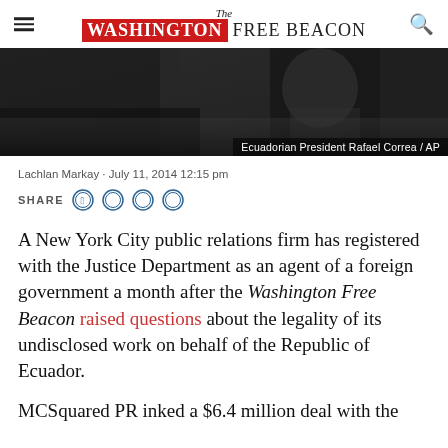The Washington Free Beacon
[Figure (photo): Dark photo showing Ecuadorian President Rafael Correa, with caption overlay 'Ecuadorian President Rafael Correa / AP']
Ecuadorian President Rafael Correa / AP
Lachlan Markay · July 11, 2014 12:15 pm
SHARE
A New York City public relations firm has registered with the Justice Department as an agent of a foreign government a month after the Washington Free Beacon raised questions about the legality of its undisclosed work on behalf of the Republic of Ecuador.
MCSquared PR inked a $6.4 million deal with the